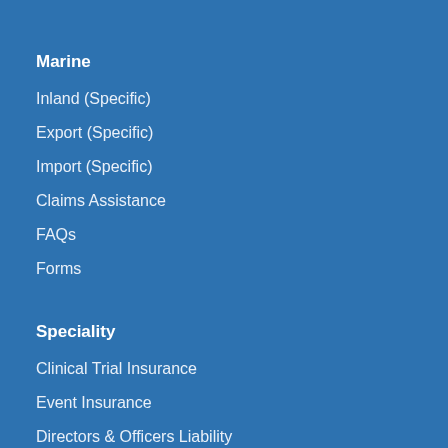Marine
Inland (Specific)
Export (Specific)
Import (Specific)
Claims Assistance
FAQs
Forms
Speciality
Clinical Trial Insurance
Event Insurance
Directors & Officers Liability
Professional Indemnity For Doctors